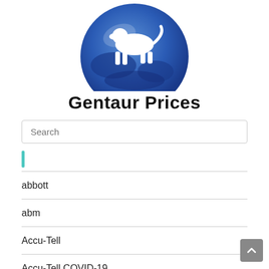[Figure (logo): Gentaur Prices logo: a blue globe with a white animal (centaur/lion) silhouette on top]
Gentaur Prices
Search
|
abbott
abm
Accu-Tell
Accu-Tell COVID-19